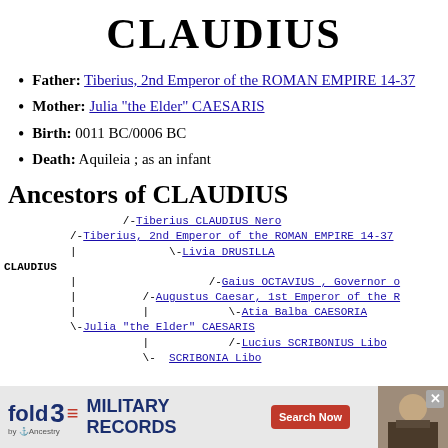CLAUDIUS
Father: Tiberius, 2nd Emperor of the ROMAN EMPIRE 14-37
Mother: Julia "the Elder" CAESARIS
Birth: 0011 BC/0006 BC
Death: Aquileia ; as an infant
Ancestors of CLAUDIUS
CLAUDIUS ancestor tree showing: /-Tiberius CLAUDIUS Nero, /-Tiberius, 2nd Emperor of the ROMAN EMPIRE 14-37, \-Livia DRUSILLA, /-Gaius OCTAVIUS Governor, /-Augustus Caesar 1st Emperor, \-Atia Balba CAESORIA, \-Julia "the Elder" CAESARIS, /-Lucius SCRIBONIUS Libo, \-SCRIBONIA Libo
[Figure (other): fold3 by Ancestry advertisement banner for Military Records with Search Now button]